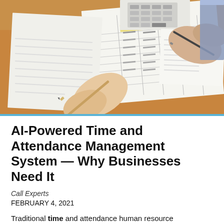[Figure (photo): Overhead view of hands reviewing spreadsheet/attendance documents on a wooden desk, one hand holding a pen, another holding a pencil, with papers and a calculator visible]
AI-Powered Time and Attendance Management System — Why Businesses Need It
Call Experts
FEBRUARY 4, 2021
Traditional time and attendance human resource management methods such as spreadsheets and word doc